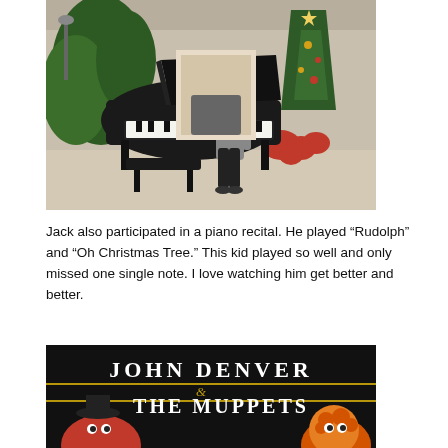[Figure (photo): A young boy standing next to a grand piano in a hotel lobby decorated for Christmas, with a Christmas tree and poinsettias in the background.]
Jack also participated in a piano recital. He played “Rudolph” and “Oh Christmas Tree.” This kid played so well and only missed one single note. I love watching him get better and better.
[Figure (photo): A close-up of a John Denver & The Muppets album or poster with Muppet characters visible at the bottom on a dark background.]